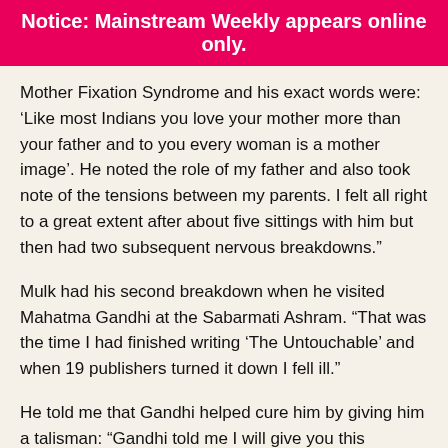Notice: Mainstream Weekly appears online only.
Mother Fixation Syndrome and his exact words were: ‘Like most Indians you love your mother more than your father and to you every woman is a mother image’. He noted the role of my father and also took note of the tensions between my parents. I felt all right to a great extent after about five sittings with him but then had two subsequent nervous breakdowns.”
Mulk had his second breakdown when he visited Mahatma Gandhi at the Sabarmati Ashram. “That was the time I had finished writing ‘The Untouchable’ and when 19 publishers turned it down I fell ill.”
He told me that Gandhi helped cure him by giving him a talisman: “Gandhi told me I will give you this talisman — and it is whenever you are in doubt or when the self becomes too much for you, try the following, that is, recall the face of the poorest and the most helpless man who you may have